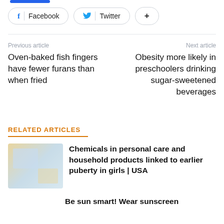[Figure (other): Blue horizontal bar at top]
[Figure (other): Social share buttons: Facebook, Twitter, and a plus/more button]
Previous article
Oven-baked fish fingers have fewer furans than when fried
Next article
Obesity more likely in preschoolers drinking sugar-sweetened beverages
RELATED ARTICLES
Chemicals in personal care and household products linked to earlier puberty in girls | USA
Be sun smart! Wear sunscreen